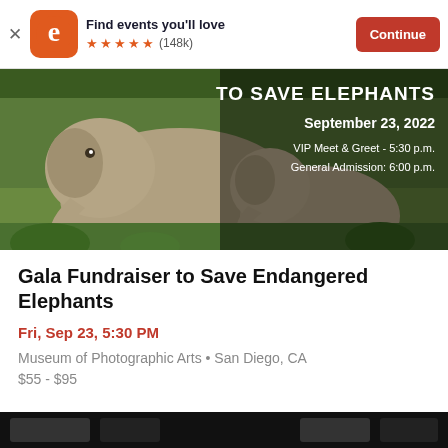Find events you'll love  ★★★★★ (148k)  Continue
[Figure (photo): Elephants in jungle with text overlay: TO SAVE ELEPHANTS, September 23, 2022, VIP Meet & Greet - 5:30 p.m., General Admission: 6:00 p.m.]
Gala Fundraiser to Save Endangered Elephants
Fri, Sep 23, 5:30 PM
Museum of Photographic Arts • San Diego, CA
$55 - $95